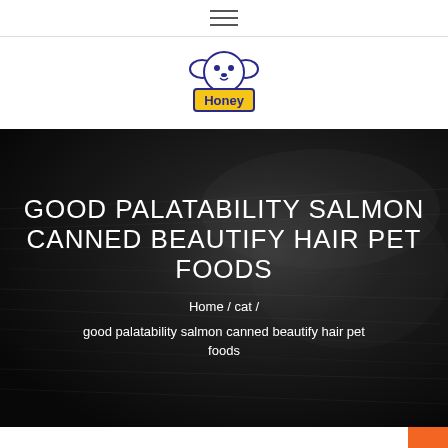☰ (hamburger menu icon)
[Figure (logo): Honey pet food brand logo — cartoon dog face above a yellow sign reading 'Honey' with blue border]
GOOD PALATABILITY SALMON CANNED BEAUTIFY HAIR PET FOODS
Home / cat /
good palatability salmon canned beautify hair pet foods